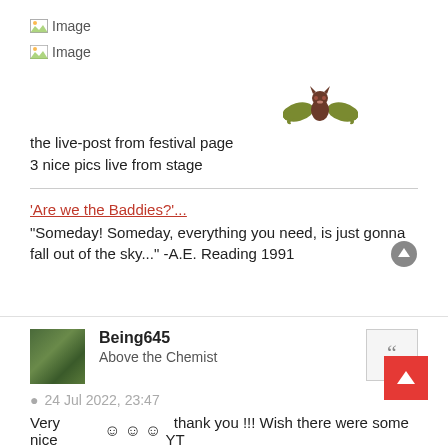[Figure (other): Broken image placeholder labeled 'Image']
[Figure (other): Broken image placeholder labeled 'Image']
[Figure (other): Pixel art bat emoji flying]
the live-post from festival page
3 nice pics live from stage
'Are we the Baddies?'...
"Someday! Someday, everything you need, is just gonna fall out of the sky..." -A.E. Reading 1991
Being645
Above the Chemist
24 Jul 2022, 23:47
Very nice   ☺☺☺   thank you !!! Wish there were some YT